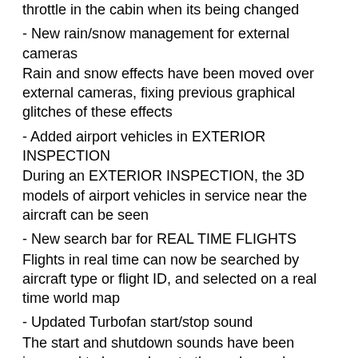throttle in the cabin when its being changed
- New rain/snow management for external cameras
Rain and snow effects have been moved over external cameras, fixing previous graphical glitches of these effects
- Added airport vehicles in EXTERIOR INSPECTION
During an EXTERIOR INSPECTION, the 3D models of airport vehicles in service near the aircraft can be seen
- New search bar for REAL TIME FLIGHTS
Flights in real time can now be searched by aircraft type or flight ID, and selected on a real time world map
- Updated Turbofan start/stop sound
The start and shutdown sounds have been improved to be as close to the real sound as possible
- New slider volume for airport vehicles and services SFX
Airport vehicles and services sfx have been granted a dedicated slider to adjust this procedures audio levels.
- Updated cockpit instruments
Cockpit instruments have been improved to ...